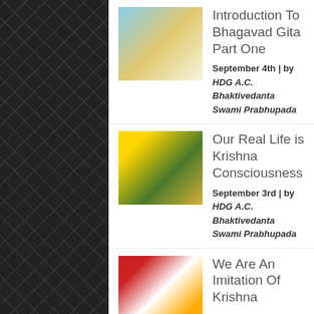Introduction To Bhagavad Gita Part One
September 4th | by HDG A.C. Bhaktivedanta Swami Prabhupada
Our Real Life is Krishna Consciousness
September 3rd | by HDG A.C. Bhaktivedanta Swami Prabhupada
We Are An Imitation Of Krishna
September 2nd | by HDG A.C. Bhaktivedanta Swami Prabhupada
Nature's Laws–But Who Created Them?
September 1st | by HDG A.C. Bhaktivedanta Swami Prabhupada
Categories
Devotees